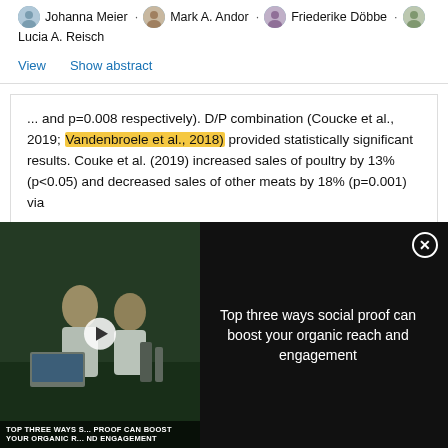Johanna Meier · Mark A. Andor · Friederike Döbbe · Lucia A. Reisch
View   Show abstract
... and p=0.008 respectively). D/P combination (Coucke et al., 2019; Vandenbroele et al., 2018) provided statistically significant results. Couke et al. (2019) increased sales of poultry by 13% (p<0.05) and decreased sales of other meats by 18% (p=0.001) via
[Figure (screenshot): Video overlay with lab background showing researchers, play button, and text 'Top three ways social proof can boost your organic reach and engagement' on dark background with close button]